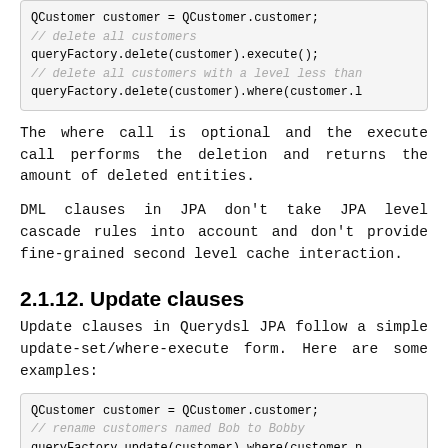[Figure (screenshot): Code block showing QCustomer delete operations with comments]
The where call is optional and the execute call performs the deletion and returns the amount of deleted entities.
DML clauses in JPA don't take JPA level cascade rules into account and don't provide fine-grained second level cache interaction.
2.1.12. Update clauses
Update clauses in Querydsl JPA follow a simple update-set/where-execute form. Here are some examples:
[Figure (screenshot): Code block showing QCustomer update operations with rename example and Bobby string highlighted in red]